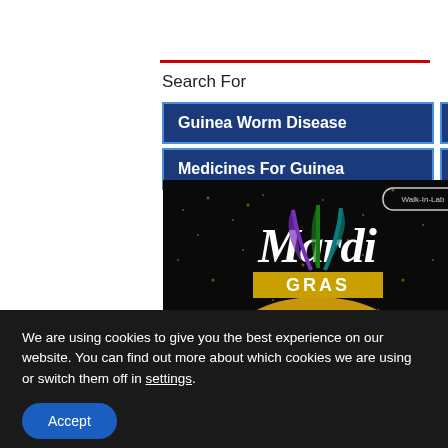Search For
Guinea Worm Disease
Online
Medicines For Guinea
Cause
[Figure (photo): Mardi Gras Sitewide Sale advertisement banner with a golden masquerade mask, colorful feathers, and gold glitter on a dark background. Walk-In-Lab logo in top right.]
We are using cookies to give you the best experience on our website. You can find out more about which cookies we are using or switch them off in settings.
Accept